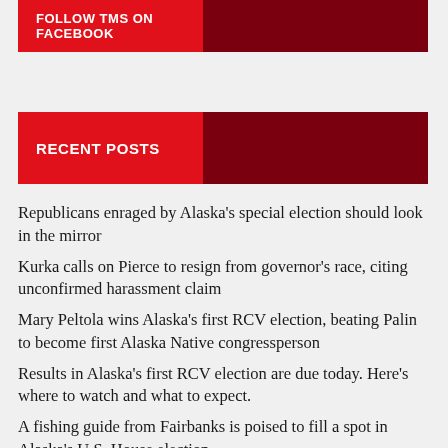FOLLOW TMS ON FACEBOOK
RECENT POSTS
Republicans enraged by Alaska's special election should look in the mirror
Kurka calls on Pierce to resign from governor's race, citing unconfirmed harassment claim
Mary Peltola wins Alaska's first RCV election, beating Palin to become first Alaska Native congressperson
Results in Alaska's first RCV election are due today. Here's where to watch and what to expect.
A fishing guide from Fairbanks is poised to fill a spot in Alaska's U.S. House election